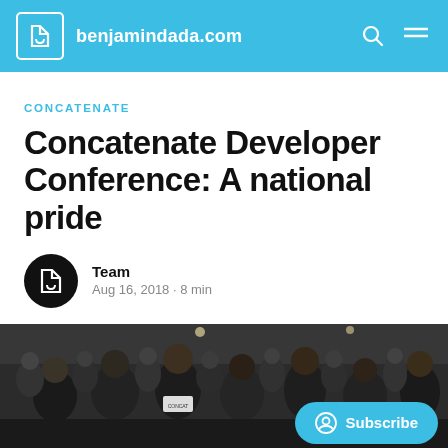benjamindada.com
CONCATENATE
Concatenate Developer Conference: A national pride
Team
Aug 16, 2018 · 8 min
[Figure (photo): Crowd of people at the Concatenate Developer Conference, with a Subscribe button overlay in the bottom right corner]